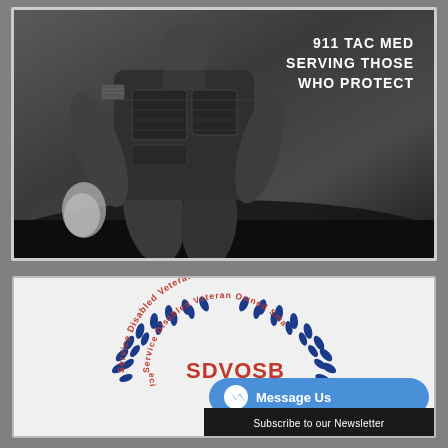[Figure (photo): Black and white photo of a soldier/tactical operator in body armor and tactical vest kneeling on the ground. A US flag patch is visible on the shoulder. The operator appears to be treating a wound. Text overlay reads '911 TAC MED SERVING THOSE WHO PROTECT'.]
[Figure (logo): SDVOSB (Service Disabled Veteran Owned Small Business) circular seal with blue laurel wreath and red text. Partially obscured by a Facebook Messenger 'Message Us' button and a 'Subscribe to our Newsletter' bar.]
Message Us
Subscribe to our Newsletter